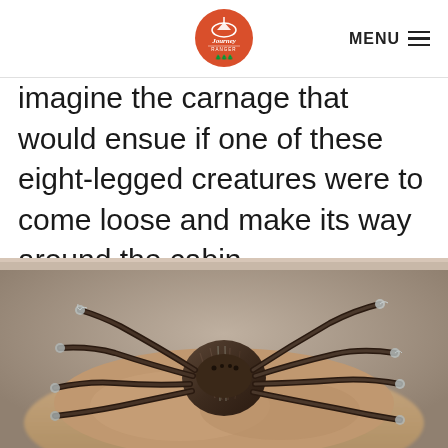Journey Ranger — MENU
imagine the carnage that would ensue if one of these eight-legged creatures were to come loose and make its way around the cabin.
[Figure (photo): A large tarantula spider sitting on a person's hand, showing detailed fur/hair on its legs and body, photographed close-up with blurred background.]